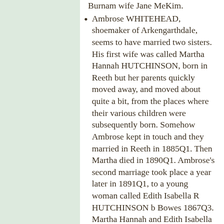Burnam wife Jane Mekim.
Ambrose WHITEHEAD, shoemaker of Arkengarthdale, seems to have married two sisters. His first wife was called Martha Hannah HUTCHINSON, born in Reeth but her parents quickly moved away, and moved about quite a bit, from the places where their various children were subsequently born. Somehow Ambrose kept in touch and they married in Reeth in 1885Q1. Then Martha died in 1890Q1. Ambrose's second marriage took place a year later in 1891Q1, to a young woman called Edith Isabella R HUTCHINSON b Bowes 1867Q3. Martha Hannah and Edith Isabella R were certainly in the same family